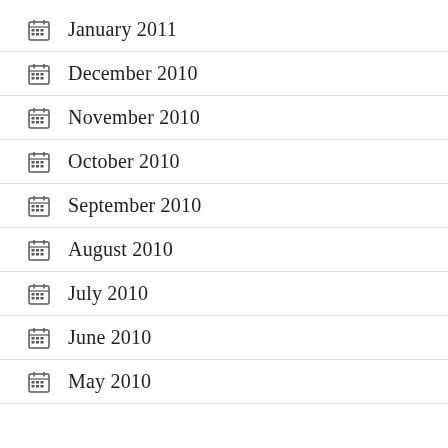January 2011
December 2010
November 2010
October 2010
September 2010
August 2010
July 2010
June 2010
May 2010